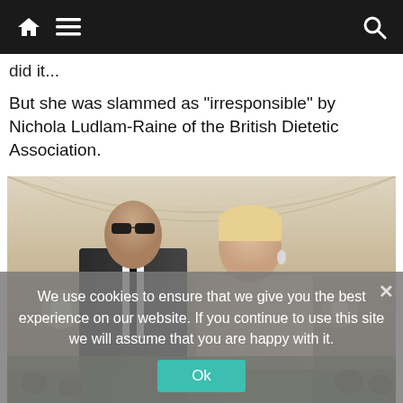Navigation bar with home, menu, and search icons
did it...
But she was slammed as "irresponsible" by Nichola Ludlam-Raine of the British Dietetic Association.
[Figure (photo): A man in a black suit with sunglasses and a woman with short blonde hair in a white dress, posing together at what appears to be a formal event with draped ceiling fabric in the background.]
We use cookies to ensure that we give you the best experience on our website. If you continue to use this site we will assume that you are happy with it.
Ok